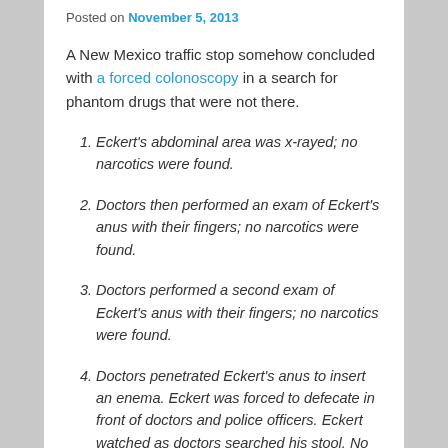Posted on November 5, 2013
A New Mexico traffic stop somehow concluded with a forced colonoscopy in a search for phantom drugs that were not there.
Eckert's abdominal area was x-rayed; no narcotics were found.
Doctors then performed an exam of Eckert's anus with their fingers; no narcotics were found.
Doctors performed a second exam of Eckert's anus with their fingers; no narcotics were found.
Doctors penetrated Eckert's anus to insert an enema. Eckert was forced to defecate in front of doctors and police officers. Eckert watched as doctors searched his stool. No narcotics were found.
Doctors penetrated Eckert's anus to insert an enema a second time. Eckert was forced to defecate in front of